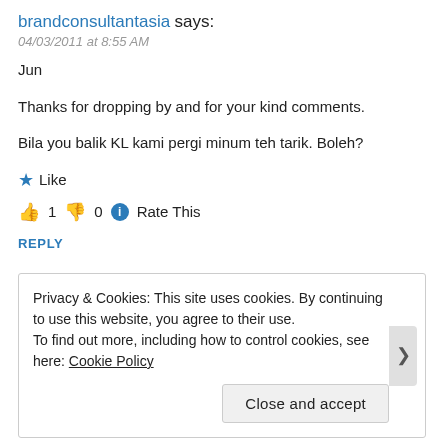brandconsultantasia says:
04/03/2011 at 8:55 AM
Jun
Thanks for dropping by and for your kind comments.
Bila you balik KL kami pergi minum teh tarik. Boleh?
★ Like
👍 1  👎 0  ℹ Rate This
REPLY
Privacy & Cookies: This site uses cookies. By continuing to use this website, you agree to their use.
To find out more, including how to control cookies, see here: Cookie Policy
Close and accept